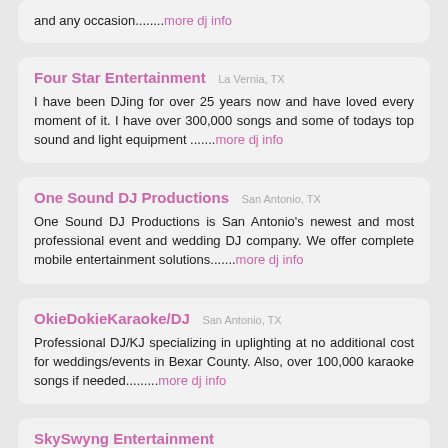and any occasion........more dj info
Four Star Entertainment  La Vernia, TX
I have been DJing for over 25 years now and have loved every moment of it. I have over 300,000 songs and some of todays top sound and light equipment .......more dj info
One Sound DJ Productions  San Antonio, TX
One Sound DJ Productions is San Antonio's newest and most professional event and wedding DJ company. We offer complete mobile entertainment solutions.......more dj info
OkieDokieKaraoke/DJ  San Antonio, TX
Professional DJ/KJ specializing in uplighting at no additional cost for weddings/events in Bexar County. Also, over 100,000 karaoke songs if needed.........more dj info
SkySwyng Entertainment